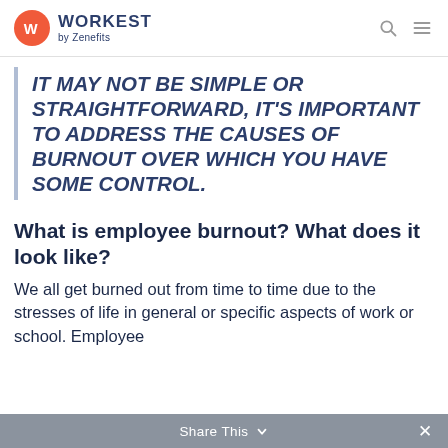WORKEST by Zenefits
IT MAY NOT BE SIMPLE OR STRAIGHTFORWARD, IT'S IMPORTANT TO ADDRESS THE CAUSES OF BURNOUT OVER WHICH YOU HAVE SOME CONTROL.
What is employee burnout? What does it look like?
We all get burned out from time to time due to the stresses of life in general or specific aspects of work or school. Employee
Share This ×